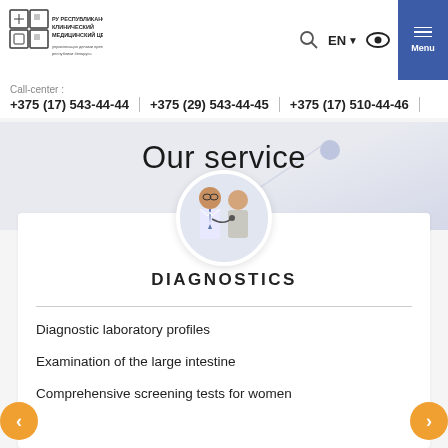[Figure (logo): РУ Республиканский Клинический Медицинский Центр logo with grid pattern]
EN
Menu
Call-center :
+375 (17) 543-44-44   +375 (29) 543-44-45   +375 (17) 510-44-46
Our service
[Figure (photo): Doctor with stethoscope examining elderly patient, shown in circular crop]
DIAGNOSTICS
Diagnostic laboratory profiles
Examination of the large intestine
Comprehensive screening tests for women